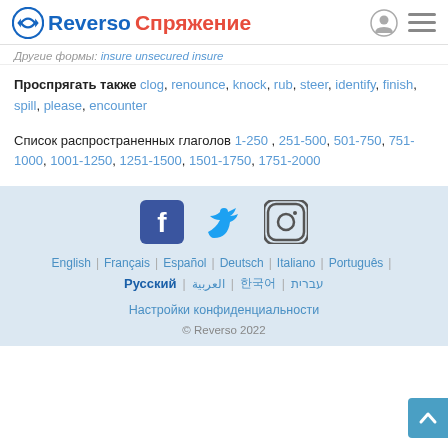Reverso Спряжение
Другие формы: insure unsecured insure
Проспрягать также clog, renounce, knock, rub, steer, identify, finish, spill, please, encounter
Список распространенных глаголов 1-250 , 251-500, 501-750, 751-1000, 1001-1250, 1251-1500, 1501-1750, 1751-2000
[Figure (logo): Social media icons: Facebook, Twitter, Instagram]
English | Français | Español | Deutsch | Italiano | Português | Русский | العربية | 한국어 | עברית
Настройки конфиденциальности
© Reverso 2022